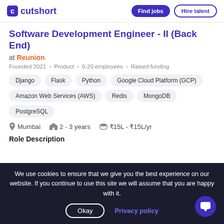cutshort | Find jobs | Hire talent
Software Development Engineer - II (Back End)
at Reunion
Founded 2021 · Product · 0-20 employees · Raised funding
Django
Flask
Python
Google Cloud Platform (GCP)
Amazon Web Services (AWS)
Redis
MongoDB
PostgreSQL
Mumbai  2 - 3 years  ₹15L - ₹15L/yr
Role Description
We use cookies to ensure that we give you the best experience on our website. If you continue to use this site we will assume that you are happy with it.